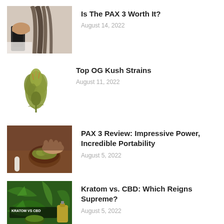[Figure (photo): Person holding a PAX 3 vaporizer device with long dark hair visible]
Is The PAX 3 Worth It?
August 14, 2022
[Figure (photo): Cannabis bud/flower on white background]
Top OG Kush Strains
August 11, 2022
[Figure (photo): Hands grinding cannabis into a wooden bowl with rolling papers nearby]
PAX 3 Review: Impressive Power, Incredible Portability
August 5, 2022
[Figure (photo): Kratom vs CBD image with green leaves and a bottle of CBD oil, text overlay reading KRATOM VS CBD]
Kratom vs. CBD: Which Reigns Supreme?
August 5, 2022